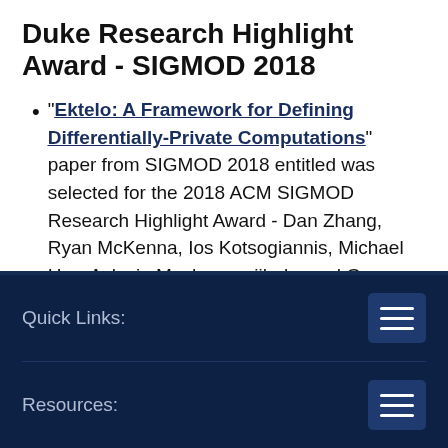Duke Research Highlight Award - SIGMOD 2018
“Ektelo: A Framework for Defining Differentially-Private Computations” paper from SIGMOD 2018 entitled was selected for the 2018 ACM SIGMOD Research Highlight Award - Dan Zhang, Ryan McKenna, Ios Kotsogiannis, Michael Hay, Ashwin Machanavajjhala, and Gerome Miklau.
Quick Links:
Resources: